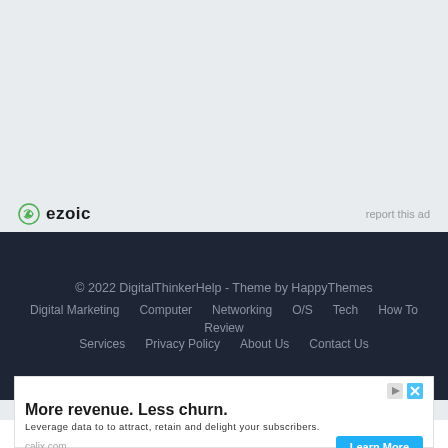[Figure (logo): Ezoic logo with green circular icon and bold ezoic text, with 'report this ad' link on the right]
© 2022 DigitalThinkerHelp - Theme by HappyThemes
Digital Marketing  Computer  Networking  O/S  Tech  How To  Review
Services  Privacy Policy  About Us  Contact Us
[Figure (screenshot): Advertisement banner: 'More revenue. Less churn.' headline with body text 'Leverage data to to attract, retain and delight your subscribers.' Domain: calix.com with Learn More button]